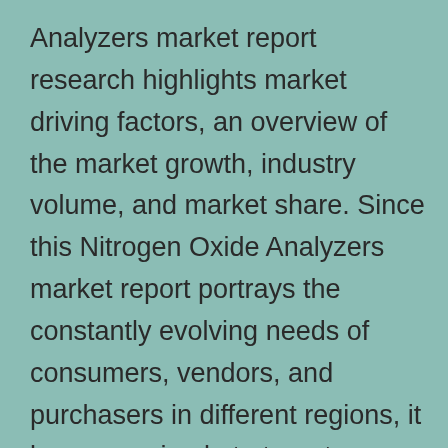Analyzers market report research highlights market driving factors, an overview of the market growth, industry volume, and market share. Since this Nitrogen Oxide Analyzers market report portrays the constantly evolving needs of consumers, vendors, and purchasers in different regions, it becomes simple to target specific products and generate large revenues in the global market. The report attempts to offer high-quality and accurate analysis of the global Nitrogen Oxide Analyzers market, keeping in view market predictions, competitive intelligence, and technological risks and